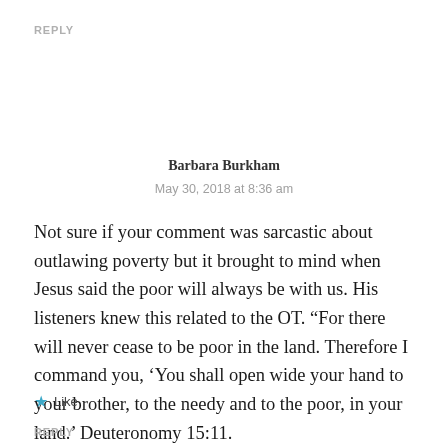REPLY
Barbara Burkham
May 30, 2018 at 8:36 am
Not sure if your comment was sarcastic about outlawing poverty but it brought to mind when Jesus said the poor will always be with us. His listeners knew this related to the OT. “For there will never cease to be poor in the land. Therefore I command you, ‘You shall open wide your hand to your brother, to the needy and to the poor, in your land.’ Deuteronomy 15:11.
★ Like
REPLY